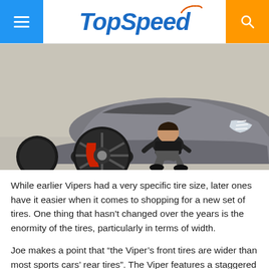TopSpeed
[Figure (photo): A man crouching next to a grey Dodge Viper, examining the large black front wheel with red brake caliper visible. The car is parked on a light concrete surface outdoors.]
While earlier Vipers had a very specific tire size, later ones have it easier when it comes to shopping for a new set of tires. One thing that hasn't changed over the years is the enormity of the tires, particularly in terms of width.
Joe makes a point that “the Viper’s front tires are wider than most sports cars’ rear tires”. The Viper features a staggered set, with 295/30 R18 tires at the front and 355/30 R19 at the back. Moreover, tire technology…